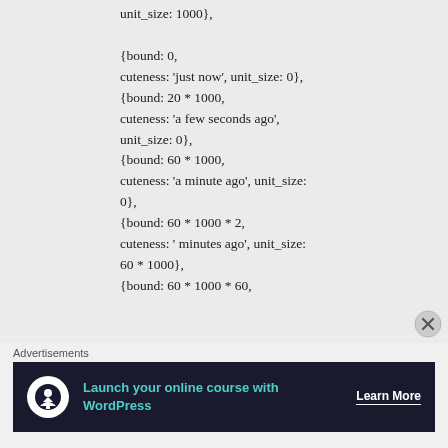unit_size: 1000},

{bound: 0,
cuteness: 'just now', unit_size: 0},
{bound: 20 * 1000,
cuteness: 'a few seconds ago',
unit_size: 0},
{bound: 60 * 1000,
cuteness: 'a minute ago', unit_size:
0},
{bound: 60 * 1000 * 2,
cuteness: ' minutes ago', unit_size:
60 * 1000},
{bound: 60 * 1000 * 60,
Advertisements
[Figure (other): Advertisement banner: Launch your online course with WordPress - Learn More button on dark background with Teachable icon]